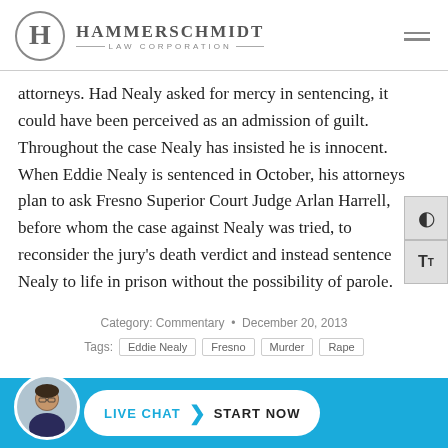HAMMERSCHMIDT LAW CORPORATION
attorneys. Had Nealy asked for mercy in sentencing, it could have been perceived as an admission of guilt. Throughout the case Nealy has insisted he is innocent. When Eddie Nealy is sentenced in October, his attorneys plan to ask Fresno Superior Court Judge Arlan Harrell, before whom the case against Nealy was tried, to reconsider the jury’s death verdict and instead sentence Nealy to life in prison without the possibility of parole.
Category: Commentary • December 20, 2013
Tags: Eddie Nealy  Fresno  Murder  Rape